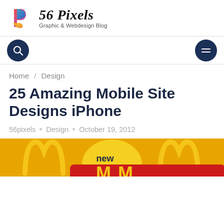[Figure (logo): 56 Pixels - Graphic & Webdesign Blog logo with colorful P icon]
[Figure (screenshot): Website navigation bar with dark navy search button (magnifying glass) on left and hamburger menu button on right]
Home / Design
25 Amazing Mobile Site Designs iPhone
56pixels • Design • October 19, 2012
[Figure (screenshot): McDonald's mobile website screenshot showing golden arches logo and 'new' label on yellow background, partially visible]